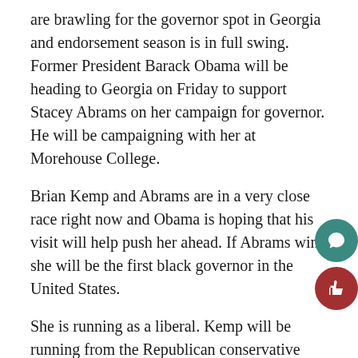are brawling for the governor spot in Georgia and endorsement season is in full swing. Former President Barack Obama will be heading to Georgia on Friday to support Stacey Abrams on her campaign for governor. He will be campaigning with her at Morehouse College.
Brian Kemp and Abrams are in a very close race right now and Obama is hoping that his visit will help push her ahead. If Abrams wins she will be the first black governor in the United States.
She is running as a liberal. Kemp will be running from the Republican conservative wing. Elections close Nov. 6.
Bus drives off of bridge after fight (11/2)
A bus drove off a bridge and crashed into a river in China after the driver had been in a fight with a passenger. At least 13 people are reported dead and two more are still missing.